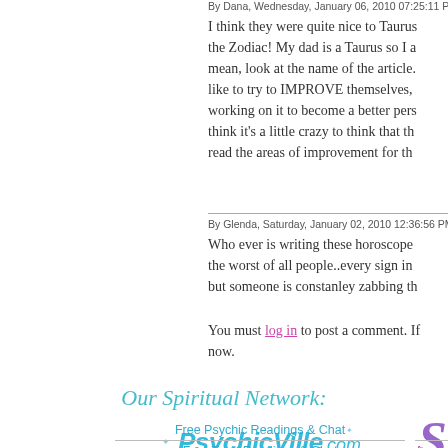By Dana, Wednesday, January 06, 2010 07:25:11 PM
I think they were quite nice to Taurus the Zodiac! My dad is a Taurus so I mean, look at the name of the article like to try to IMPROVE themselves, working on it to become a better pers think it's a little crazy to think that th read the areas of improvement for th
By Glenda, Saturday, January 02, 2010 12:36:56 PM
Who ever is writing these horoscope the worst of all people..every sign in but someone is constanley zabbing th
You must log in to post a comment. If now.
Our Spiritual Network:
[Figure (logo): PsychicVille.com logo in cyan/teal blue italic text with sparkle decorations]
[Figure (logo): Partial logo on right side in purple, partially cropped]
Free Psychic Readings & Chat
Free Tarot Readings & Chat
Psychic Money Reading
Live Astrology Readings & Chat
Medium Readings & Chat